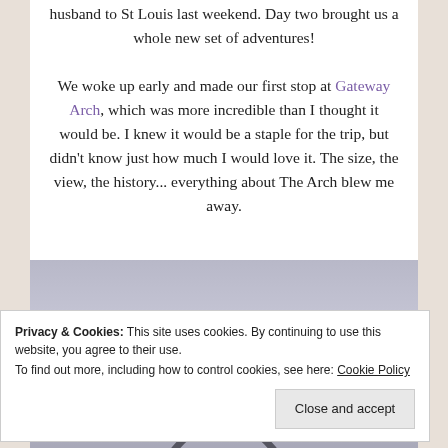husband to St Louis last weekend. Day two brought us a whole new set of adventures!
We woke up early and made our first stop at Gateway Arch, which was more incredible than I thought it would be. I knew it would be a staple for the trip, but didn't know just how much I would love it. The size, the view, the history... everything about The Arch blew me away.
[Figure (photo): Photo of Gateway Arch, grayish-blue sky background with arch structure visible at bottom]
Privacy & Cookies: This site uses cookies. By continuing to use this website, you agree to their use. To find out more, including how to control cookies, see here: Cookie Policy
Close and accept